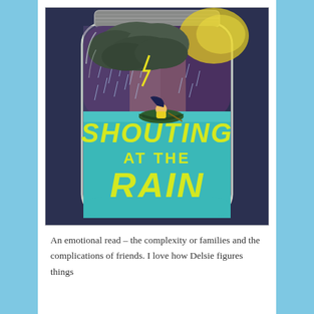[Figure (illustration): Book cover of 'Shouting at the Rain' showing a glass jar containing a stormy scene with dark clouds, rain, and a girl in a yellow jacket sitting in a small boat on teal water. Yellow-green title text reads 'SHOUTING AT THE RAIN' on the teal lower portion of the jar. Background is dark navy blue.]
An emotional read – the complexity or families and the complications of friends. I love how Delsie figures things out...